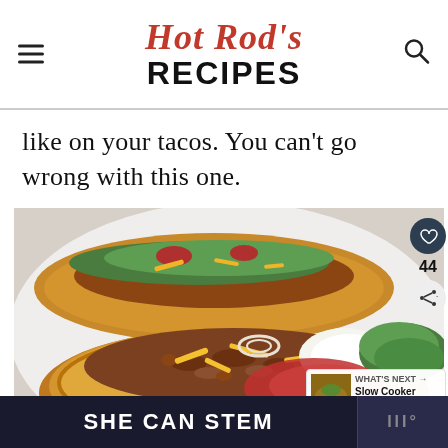Hot Rod's RECIPES
like on your tacos. You can't go wrong with this one.
[Figure (photo): Close-up photo of Indian tacos / fry bread tacos topped with seasoned ground beef, beans, shredded lettuce, cheese, tomatoes, sour cream, and hot sauce on a white plate. Sidebar shows heart/like icon with count 44 and share icon. A 'What's Next' overlay shows a thumbnail of Slow Cooker Chicken Lim...]
SHE CAN STEM